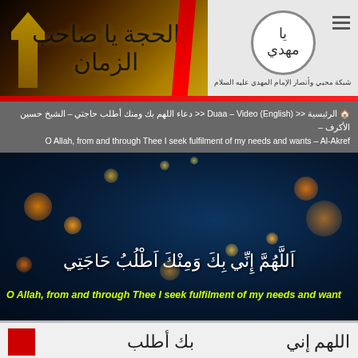[Figure (illustration): Website header banner with Islamic calligraphy on dark golden-red background on the left, and a circular logo with Arabic text on white background on the right, with Arabic text 'شبكة محبي وأنصار الإمام المهدي عليه السلام']
🏠 الرئيسية << Duaa – Video (English) << دعاء اللهم بك ومنك أطلب حاجتي – الشيخ حسين الأكرف – O Allah, from and through Thee I seek fulfilment of my needs and wants – Al-Akref
[Figure (screenshot): Video screenshot showing dark blue bokeh background with Arabic prayer text 'اَللَّهُمَّ إِنِّي بِكَ وَمِنْكَ أَطْلُبُ حَاجَتِي' in white Arabic calligraphy and English subtitle 'O Allah, from and through Thee I seek fulfilment of my needs and want' in yellow-green bold italic text]
اللهم إني بك ومنك أطلب حاجتي